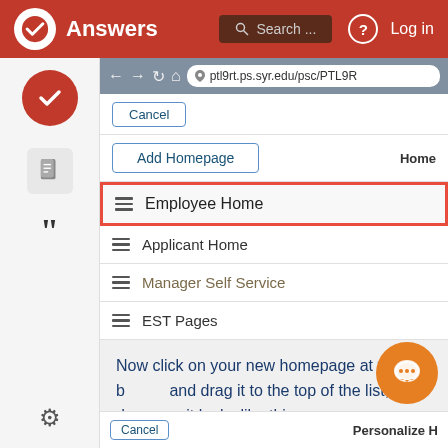[Figure (screenshot): Top navigation bar of 'Answers' platform with logo, search bar, help icon, and login link]
[Figure (screenshot): Screenshot of PeopleSoft browser interface showing a list of homepages: Employee Home (highlighted with red border), Applicant Home, Manager Self Service, EST Pages, with Cancel and Add Homepage buttons]
Now click on your new homepage at the bottom and drag it to the top of the list, and drop so it looks like this:
[Figure (screenshot): Bottom of page showing Cancel button and Personalize heading]